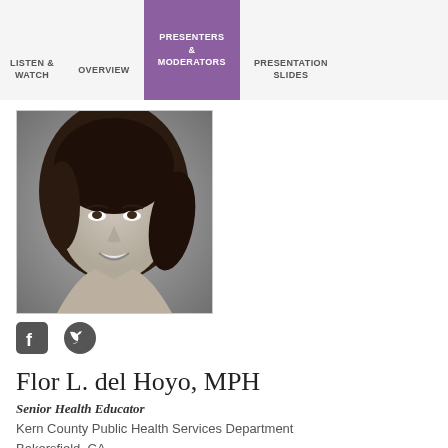LISTEN & WATCH | OVERVIEW | PRESENTERS & MODERATORS | PRESENTATION SLIDES
[Figure (photo): Black and white headshot photo of Flor L. del Hoyo, a woman with dark curly hair, smiling]
[Figure (other): Social media icons: Facebook and Twitter]
Flor L. del Hoyo, MPH
Senior Health Educator
Kern County Public Health Services Department
Bakersfield, CA
Flor del Hoyo is a Senior Health Educator from Kern County Public Health Services Department, with a Masters in Public